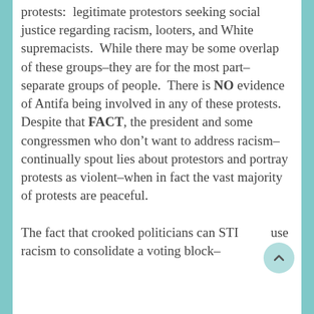protests:  legitimate protestors seeking social justice regarding racism, looters, and White supremacists.  While there may be some overlap of these groups–they are for the most part–separate groups of people.  There is NO evidence of Antifa being involved in any of these protests.  Despite that FACT, the president and some congressmen who don't want to address racism–continually spout lies about protestors and portray protests as violent–when in fact the vast majority of protests are peaceful.

The fact that crooked politicians can STILL use racism to consolidate a voting block–